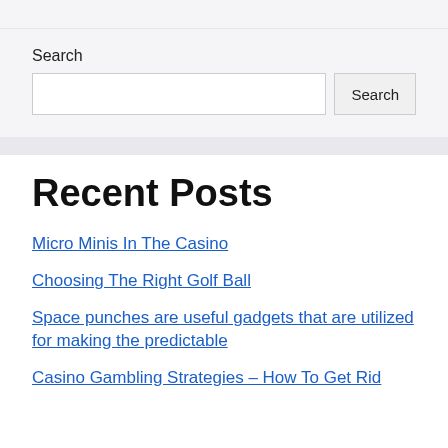Search
Search [input] Search [button]
Recent Posts
Micro Minis In The Casino
Choosing The Right Golf Ball
Space punches are useful gadgets that are utilized for making the predictable
Casino Gambling Strategies – How To Get Rid